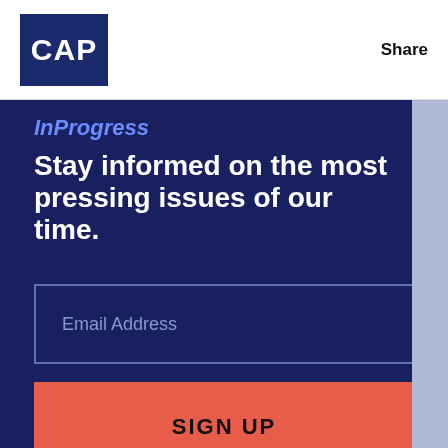CAP | Share
InProgress
Stay informed on the most pressing issues of our time.
Email Address
SIGN UP
Learn about our sister organization, the Center for American Progress Action Fund, an advocacy organization dedicated to improving the lives of all